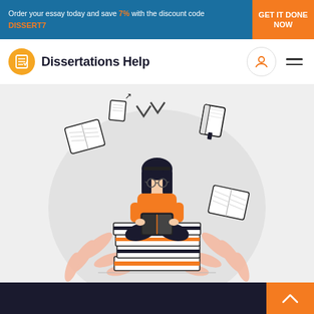Order your essay today and save 7% with the discount code DISSERT7 GET IT DONE NOW
Dissertations Help
[Figure (illustration): Illustration of a girl with glasses sitting cross-legged on a stack of books, reading, surrounded by floating books and decorative leaves, in orange and black colors on a light grey circular background.]